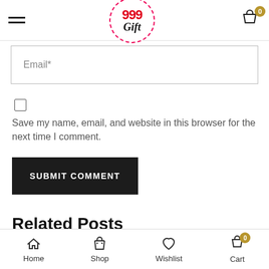999 Gift — navigation header with hamburger menu and cart icon
Email*
Save my name, email, and website in this browser for the next time I comment.
SUBMIT COMMENT
Related Posts
Home  Shop  Wishlist  Cart (0)